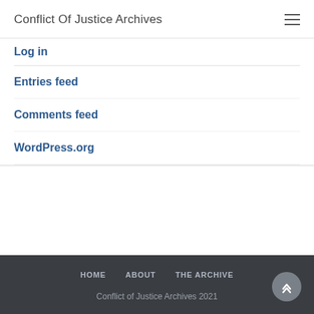Conflict Of Justice Archives
Log in
Entries feed
Comments feed
WordPress.org
HOME   ABOUT   THE ARCHIVE
Conflict of Justice Archives 2021